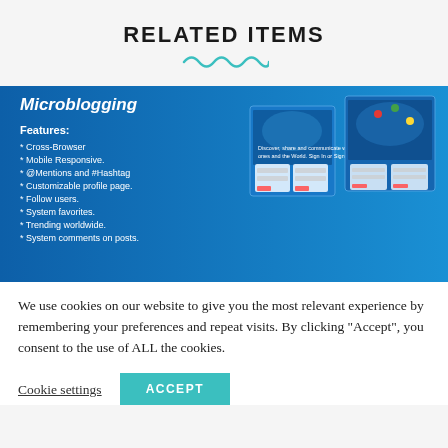RELATED ITEMS
[Figure (screenshot): Microblogging software product screenshot showing features list including Cross-Browser, Mobile Responsive, @Mentions and #Hashtag, Customizable profile page, Follow users, System favorites, Trending worldwide, System comments on posts. Blue background with world map and product UI screenshots.]
We use cookies on our website to give you the most relevant experience by remembering your preferences and repeat visits. By clicking "Accept", you consent to the use of ALL the cookies.
Cookie settings   ACCEPT